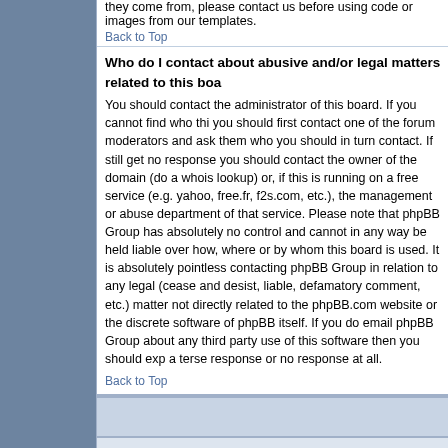they come from, please contact us before using code or images from our templates.
Back to Top
Who do I contact about abusive and/or legal matters related to this board?
You should contact the administrator of this board. If you cannot find who this is, you should first contact one of the forum moderators and ask them who you should in turn contact. If still get no response you should contact the owner of the domain (do a whois lookup) or, if this is running on a free service (e.g. yahoo, free.fr, f2s.com, etc.), the management or abuse department of that service. Please note that phpBB Group has absolutely no control and cannot in any way be held liable over how, where or by whom this board is used. It is absolutely pointless contacting phpBB Group in relation to any legal (cease and desist, liable, defamatory comment, etc.) matter not directly related to the phpBB.com website or the discrete software of phpBB itself. If you do email phpBB Group about any third party use of this software then you should expect a terse response or no response at all.
Back to Top
Forum Index » FAQ
Jump to: Select a Forum   Go
Page generation time: 0.322985 seconds :: 12 queries executed :: All Times are GMT
Powered by phpBB 2.0 © 2001, 2002 phpBB Group :: Based on an FI Theme